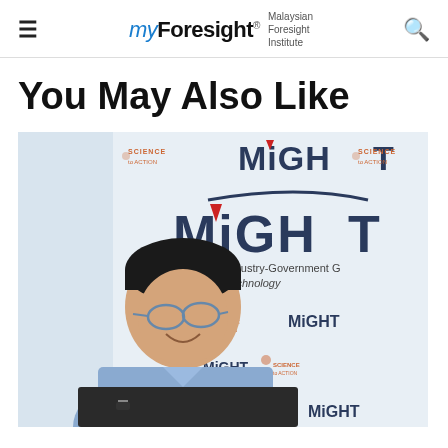myForesight® Malaysian Foresight Institute
You May Also Like
[Figure (photo): A man in a light blue dress shirt with glasses, smiling and seated in front of a MiGHT (Malaysian Industry-Government Group for High Technology) branded backdrop with repeated logos and 'Science to Action' text.]